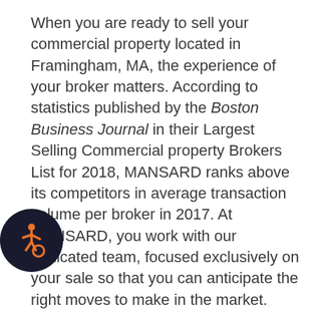When you are ready to sell your commercial property located in Framingham, MA, the experience of your broker matters. According to statistics published by the Boston Business Journal in their Largest Selling Commercial property Brokers List for 2018, MANSARD ranks above its competitors in average transaction volume per broker in 2017. At MANSARD, you work with our dedicated team, focused exclusively on your sale so that you can anticipate the right moves to make in the market.
Without experience guiding you with recommendations, it's almost impossible to execute a commercial property sale to your advantage. That's why getting access to over 19 years of commercial property experience, over 1,000
[Figure (illustration): Accessibility wheelchair icon — white figure on dark circular background, orange icon]